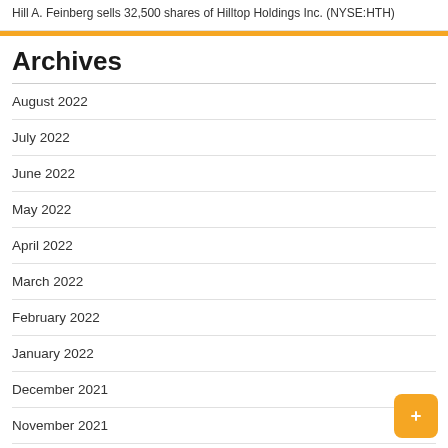Hill A. Feinberg sells 32,500 shares of Hilltop Holdings Inc. (NYSE:HTH)
Archives
August 2022
July 2022
June 2022
May 2022
April 2022
March 2022
February 2022
January 2022
December 2021
November 2021
October 2021